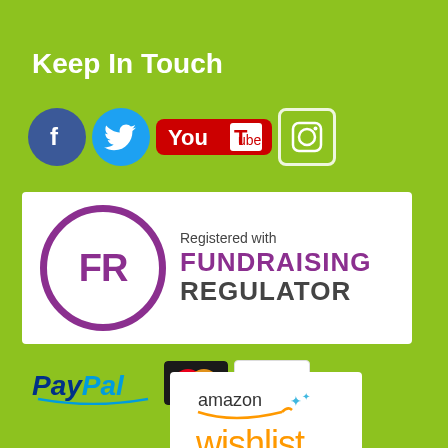Keep In Touch
[Figure (logo): Social media icons: Facebook, Twitter, YouTube, Instagram]
[Figure (logo): Registered with Fundraising Regulator badge]
[Figure (logo): Payment logos: PayPal, MasterCard, Visa]
[Figure (logo): Amazon Wishlist logo]